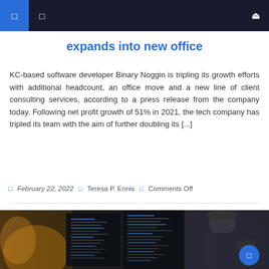Navigation bar with menu icons and search
expands into new office
KC-based software developer Binary Noggin is tripling its growth efforts with additional headcount, an office move and a new line of client consulting services, according to a press release from the company today. Following net profit growth of 51% in 2021, the tech company has tripled its team with the aim of further doubling its [...]
February 22, 2022   Teresa P. Ennis   Comments Off
[Figure (photo): Photo of computer monitors displaying code with a developer working in the background]